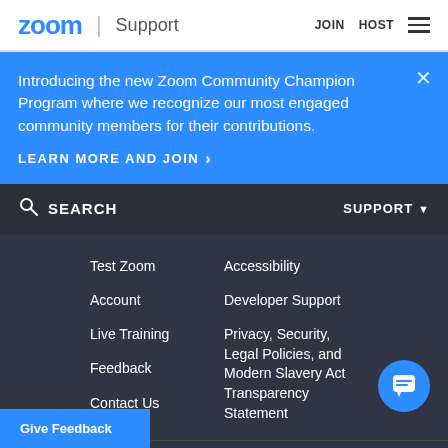zoom | Support   JOIN   HOST
Introducing the new Zoom Community Champion Program where we recognize our most engaged community members for their contributions.
LEARN MORE AND JOIN >
SEARCH   SUPPORT
Test Zoom
Account
Live Training
Feedback
Contact Us
Accessibility
Developer Support
Privacy, Security, Legal Policies, and Modern Slavery Act Transparency Statement
Language
English
Give Feedback